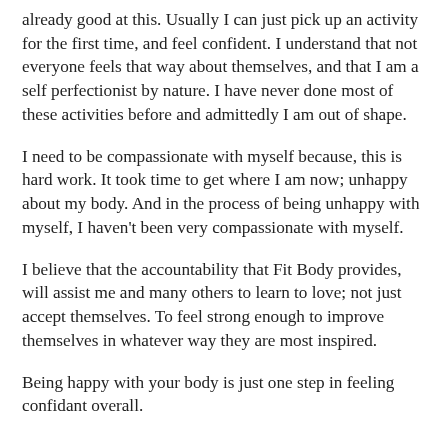already good at this.  Usually I can just pick up an activity for the first time, and feel confident.  I understand that not everyone feels that way about themselves, and that I am a self perfectionist by nature.  I have never done most of these activities before and admittedly I am out of shape.
I need to be compassionate with myself because, this is hard work.  It took time to get where I am now; unhappy about my body.  And in the process of being unhappy with myself, I haven't been very compassionate with myself.
I believe that the accountability that Fit Body provides, will assist me and many others to learn to love; not just accept themselves. To feel strong enough to improve themselves in whatever way they are most inspired.
Being happy with your body is just one step in feeling confidant overall.